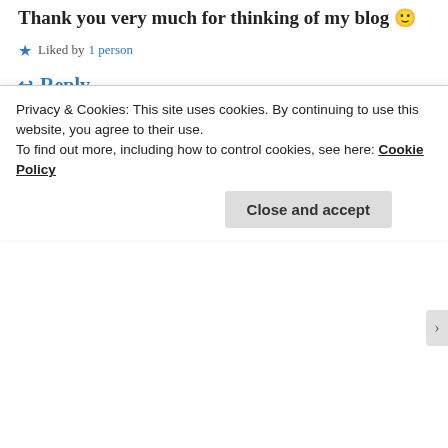Thank you very much for thinking of my blog 😊
★ Liked by 1 person
↩ Reply
KARATEFOXCUB
November 4, 2015 at 11:39 AM
No problem*
★ Like
Privacy & Cookies: This site uses cookies. By continuing to use this website, you agree to their use.
To find out more, including how to control cookies, see here: Cookie Policy
Close and accept